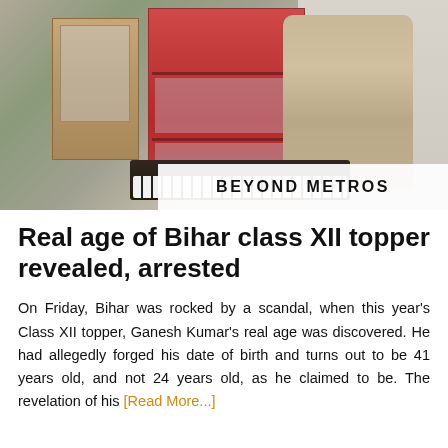[Figure (photo): A man sitting and playing a keyboard/harmonium instrument inside a room with a red cabinet in the background. He is wearing a grey athletic shirt. A wooden cabinet is visible on the left. The banner 'BEYOND METROS' appears at the bottom right of the image.]
Real age of Bihar class XII topper revealed, arrested
On Friday, Bihar was rocked by a scandal, when this year's Class XII topper, Ganesh Kumar's real age was discovered. He had allegedly forged his date of birth and turns out to be 41 years old, and not 24 years old, as he claimed to be. The revelation of his [Read More...]